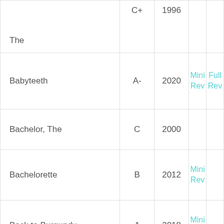| Title | Grade | Year | Mini Rev | Full Rev |
| --- | --- | --- | --- | --- |
| The | C+ | 1996 |  |  |
| Babyteeth | A- | 2020 | Mini Rev | Full Rev |
| Bachelor, The | C | 2000 |  |  |
| Bachelorette | B | 2012 | Mini Rev |  |
| Back to Burgundy | A | 2018 | Mini Rev |  |
| Back Up Plan, The | C+ | 2010 | Mini Rev |  |
|  |  |  | Mini |  |